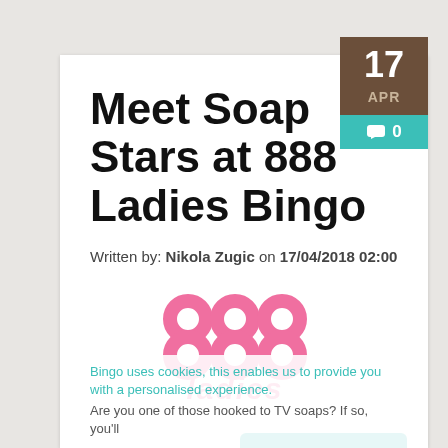Meet Soap Stars at 888 Ladies Bingo
Written by: Nikola Zugic on 17/04/2018 02:00
[Figure (logo): 888 Ladies Bingo logo — pink interlocking rings forming the digits 888 above stylized pink text reading 'ladies']
Play This Site
Bingo uses cookies, this enables us to provide you with a personalised experience.
Are you one of those hooked to TV soaps? If so, you'll